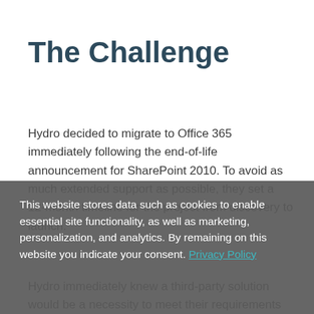The Challenge
Hydro decided to migrate to Office 365 immediately following the end-of-life announcement for SharePoint 2010. To avoid as much extended support as possible, they set a 12-month timeline for the project from discovery to launch.
Hydro immediately knew a third-party solution would be a necessity to meet their requirements which included:
This website stores data such as cookies to enable essential site functionality, as well as marketing, personalization, and analytics. By remaining on this website you indicate your consent. Privacy Policy